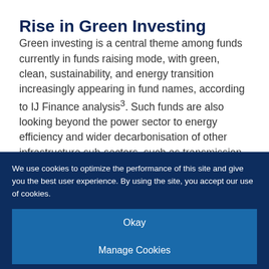Rise in Green Investing
Green investing is a central theme among funds currently in funds raising mode, with green, clean, sustainability, and energy transition increasingly appearing in fund names, according to IJ Finance analysis³. Such funds are also looking beyond the power sector to energy efficiency and wider decarbonisation of other infrastructure sub-sectors, such as transmission, clean transport,
We use cookies to optimize the performance of this site and give you the best user experience. By using the site, you accept our use of cookies.
Okay
Manage Cookies